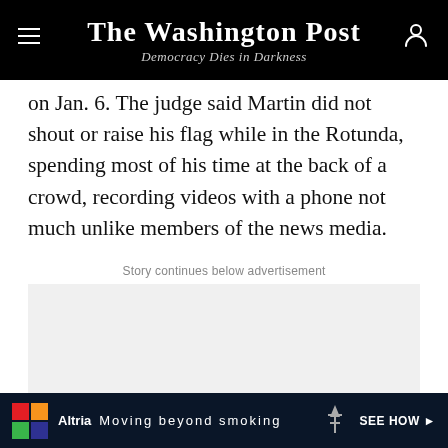The Washington Post — Democracy Dies in Darkness
on Jan. 6. The judge said Martin did not shout or raise his flag while in the Rotunda, spending most of his time at the back of a crowd, recording videos with a phone not much unlike members of the news media.
Story continues below advertisement
[Figure (other): Gray advertisement placeholder area]
[Figure (other): Altria 'Moving beyond smoking' advertisement banner with logo, tagline, and SEE HOW button]